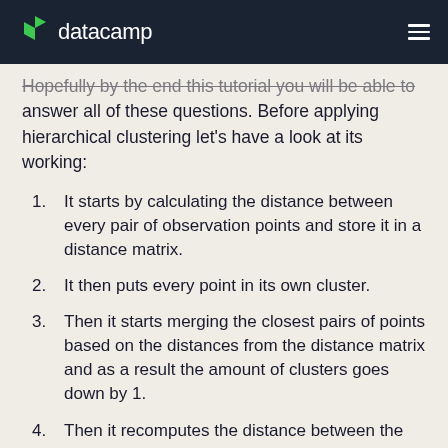datacamp
Hopefully by the end this tutorial you will be able to answer all of these questions. Before applying hierarchical clustering let's have a look at its working:
It starts by calculating the distance between every pair of observation points and store it in a distance matrix.
It then puts every point in its own cluster.
Then it starts merging the closest pairs of points based on the distances from the distance matrix and as a result the amount of clusters goes down by 1.
Then it recomputes the distance between the new cluster and the old ones and stores them in a new distance matrix.